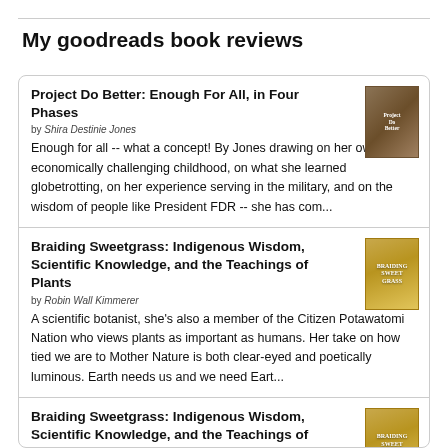My goodreads book reviews
Project Do Better: Enough For All, in Four Phases by Shira Destinie Jones — Enough for all -- what a concept! By Jones drawing on her own economically challenging childhood, on what she learned globetrotting, on her experience serving in the military, and on the wisdom of people like President FDR -- she has com...
Braiding Sweetgrass: Indigenous Wisdom, Scientific Knowledge, and the Teachings of Plants by Robin Wall Kimmerer — A scientific botanist, she's also a member of the Citizen Potawatomi Nation who views plants as important as humans. Her take on how tied we are to Mother Nature is both clear-eyed and poetically luminous. Earth needs us and we need Eart...
Braiding Sweetgrass: Indigenous Wisdom, Scientific Knowledge, and the Teachings of Plants by Robin Wall Kimmerer